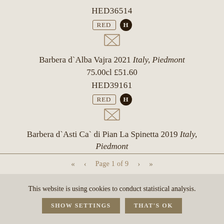HED36514
[Figure (infographic): RED badge (outlined rectangle) and H badge (dark circle with H)]
[Figure (infographic): Envelope icon (outline)]
Barbera d`Alba Vajra 2021 Italy, Piedmont 75.00cl £51.60
HED39161
[Figure (infographic): RED badge (outlined rectangle) and H badge (dark circle with H)]
[Figure (infographic): Envelope icon (outline)]
Barbera d`Asti Ca` di Pian La Spinetta 2019 Italy, Piedmont 75.00cl £51.10
« ‹ Page 1 of 9 › »
This website is using cookies to conduct statistical analysis. SHOW SETTINGS THAT'S OK